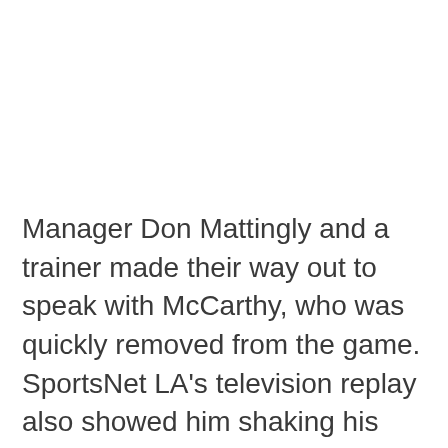Manager Don Mattingly and a trainer made their way out to speak with McCarthy, who was quickly removed from the game. SportsNet LA's television replay also showed him shaking his right hand/arm after throwing his final pitch, suggesting there was some level of discomfort.

Sergio Santos replaced McCarthy, who managed to record four strikeouts along with